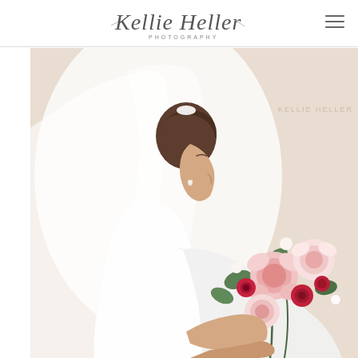[Figure (logo): Kellie Heller Photography cursive script logo]
[Figure (photo): Bridal portrait photograph: a bride in a white long-sleeve dress with a long veil, viewed from the side, looking downward while holding a bouquet of pink peonies, red roses, and green leaves, against a soft beige background]